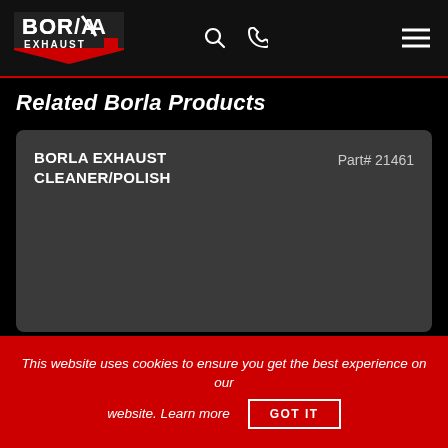Borla Exhaust — navigation bar with logo, search icon, phone icon, and hamburger menu
Related Borla Products
BORLA EXHAUST CLEANER/POLISH   Part# 21461
This website uses cookies to ensure you get the best experience on our website. Learn more  GOT IT